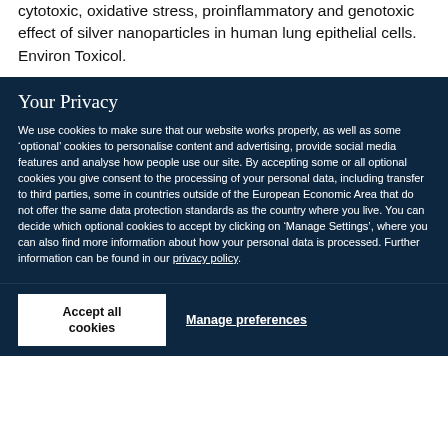cytotoxic, oxidative stress, proinflammatory and genotoxic effect of silver nanoparticles in human lung epithelial cells. Environ Toxicol.
Your Privacy
We use cookies to make sure that our website works properly, as well as some ‘optional’ cookies to personalise content and advertising, provide social media features and analyse how people use our site. By accepting some or all optional cookies you give consent to the processing of your personal data, including transfer to third parties, some in countries outside of the European Economic Area that do not offer the same data protection standards as the country where you live. You can decide which optional cookies to accept by clicking on ‘Manage Settings’, where you can also find more information about how your personal data is processed. Further information can be found in our privacy policy.
Accept all cookies
Manage preferences